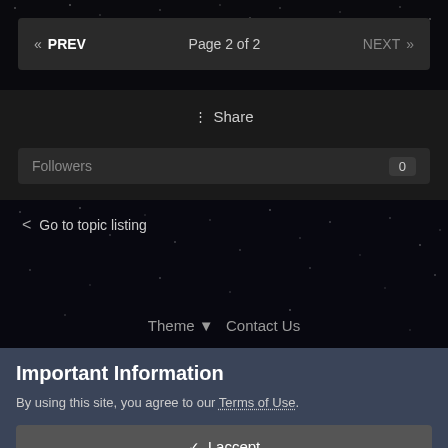« PREV   Page 2 of 2   NEXT »
⋮ Share
Followers   0
< Go to topic listing
Theme ▼   Contact Us
Important Information
By using this site, you agree to our Terms of Use.
✓ I accept